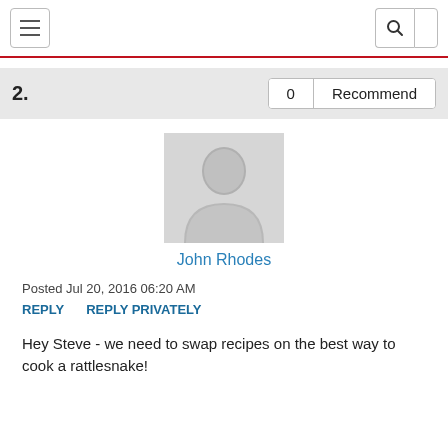2.
[Figure (illustration): Default user avatar silhouette in grey]
John Rhodes
Posted Jul 20, 2016 06:20 AM
REPLY  REPLY PRIVATELY
Hey Steve - we need to swap recipes on the best way to cook a rattlesnake!